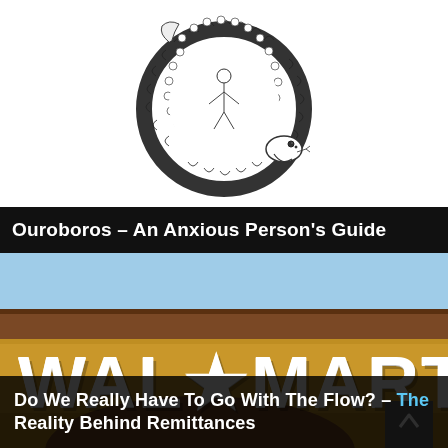[Figure (illustration): Ouroboros illustration — a snake eating its own tail, drawn in black and white line art, circular form against a white background]
Ouroboros – An Anxious Person's Guide
[Figure (photo): Photograph of a Walmart store exterior showing the WAL★MART sign in large white letters on a yellow/tan wall, with a blue sky and brown roof trim visible]
Do We Really Have To Go With The Flow? – The Reality Behind Remittances